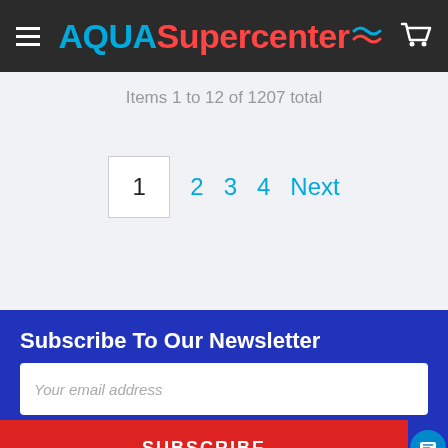AQUA Supercenter
Items 1 to 12 of 1207 total
1  2  3  4  Next
Subscribe To Our Newsletter
Your email address
SUBSCRIBE